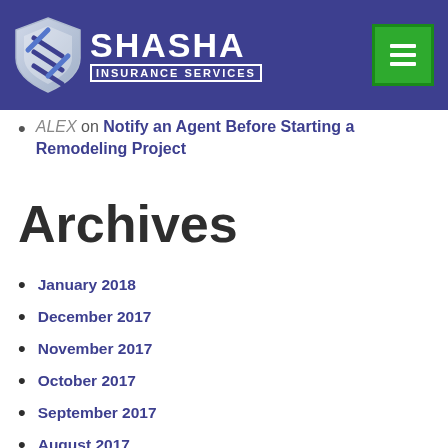[Figure (logo): Shasha Insurance Services logo with shield icon on dark blue header bar, and green hamburger menu button on the right]
ALEX on Notify an Agent Before Starting a Remodeling Project
Archives
January 2018
December 2017
November 2017
October 2017
September 2017
August 2017
July 2017
June 2017
May 2017